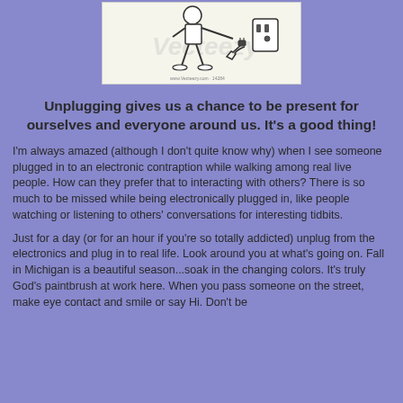[Figure (illustration): Cartoon illustration of a person plugged into an electronic device, with a wall outlet visible. Watermark text visible in background.]
Unplugging gives us a chance to be present for ourselves and everyone around us.  It's a good thing!
I'm always amazed (although I don't quite know why) when I see someone plugged in to an electronic contraption while walking among real live people. How can they prefer that to interacting with others? There is so much to be missed while being electronically plugged in, like people watching or listening to others' conversations for interesting tidbits.
Just for a day (or for an hour if you're so totally addicted) unplug from the electronics and plug in to real life. Look around you at what's going on. Fall in Michigan is a beautiful season...soak in the changing colors. It's truly God's paintbrush at work here. When you pass someone on the street, make eye contact and smile or say Hi. Don't be